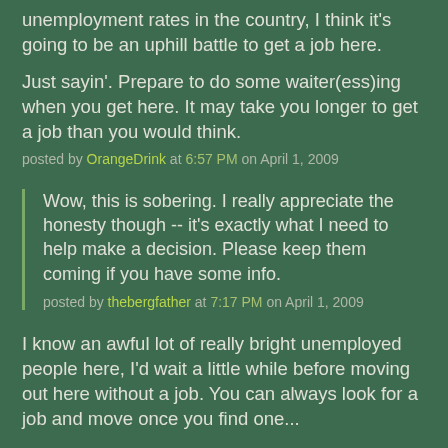unemployment rates in the country, I think it's going to be an uphill battle to get a job here.

Just sayin'. Prepare to do some waiter(ess)ing when you get here. It may take you longer to get a job than you would think.
posted by OrangeDrink at 6:57 PM on April 1, 2009
Wow, this is sobering. I really appreciate the honesty though -- it's exactly what I need to help make a decision. Please keep them coming if you have some info.
posted by thebergfather at 7:17 PM on April 1, 2009
I know an awful lot of really bright unemployed people here, I'd wait a little while before moving out here without a job. You can always look for a job and move once you find one...